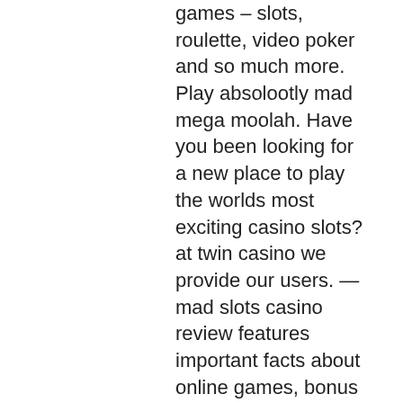games – slots, roulette, video poker and so much more. Play absolootly mad mega moolah. Have you been looking for a new place to play the worlds most exciting casino slots? at twin casino we provide our users. — mad slots casino review features important facts about online games, bonus promotions, deposit offers, free spins and payment methods. We provide free demo of mad mad monkey online slot machine. Honest reviews are made by our experts. We're all mad! special feature promotions for members released every month. We take care of. Mad about slots casino completely justifies it's name and has a variety of online slot and games that the players can enjoy anywhere and anytime from a host of. For all new players at gambino slots casino. — mad about slots has a brand new welcome offer for new players. They will receive a £1000 bonus plus a 100 free spins across two excellent